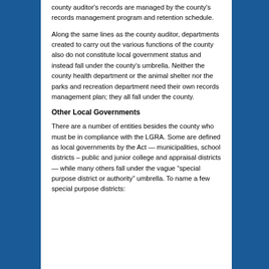county auditor's records are managed by the county's records management program and retention schedule.
Along the same lines as the county auditor, departments created to carry out the various functions of the county also do not constitute local government status and instead fall under the county's umbrella. Neither the county health department or the animal shelter nor the parks and recreation department need their own records management plan; they all fall under the county.
Other Local Governments
There are a number of entities besides the county who must be in compliance with the LGRA. Some are defined as local governments by the Act — municipalities, school districts – public and junior college and appraisal districts— while many others fall under the vague "special purpose district or authority" umbrella. To name a few special purpose districts: